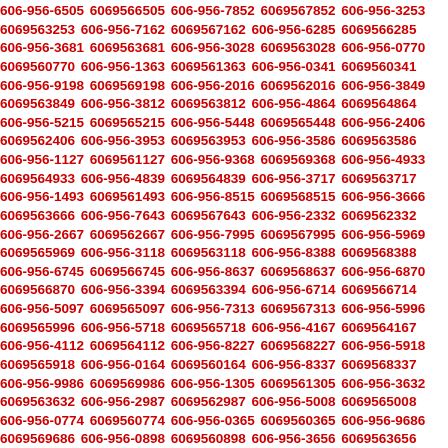606-956-6505 6069566505 606-956-7852 6069567852 606-956-3253 6069563253 606-956-7162 6069567162 606-956-6285 6069566285 606-956-3681 6069563681 606-956-3028 6069563028 606-956-0770 6069560770 606-956-1363 6069561363 606-956-0341 6069560341 606-956-9198 6069569198 606-956-2016 6069562016 606-956-3849 6069563849 606-956-3812 6069563812 606-956-4864 6069564864 606-956-5215 6069565215 606-956-5448 6069565448 606-956-2406 6069562406 606-956-3953 6069563953 606-956-3586 6069563586 606-956-1127 6069561127 606-956-9368 6069569368 606-956-4933 6069564933 606-956-4839 6069564839 606-956-3717 6069563717 606-956-1493 6069561493 606-956-8515 6069568515 606-956-3666 6069563666 606-956-7643 6069567643 606-956-2332 6069562332 606-956-2667 6069562667 606-956-7995 6069567995 606-956-5969 6069565969 606-956-3118 6069563118 606-956-8388 6069568388 606-956-6745 6069566745 606-956-8637 6069568637 606-956-6870 6069566870 606-956-3394 6069563394 606-956-6714 6069566714 606-956-5097 6069565097 606-956-7313 6069567313 606-956-5996 6069565996 606-956-5718 6069565718 606-956-4167 6069564167 606-956-4112 6069564112 606-956-8227 6069568227 606-956-5918 6069565918 606-956-0164 6069560164 606-956-8337 6069568337 606-956-9986 6069569986 606-956-1305 6069561305 606-956-3632 6069563632 606-956-2987 6069562987 606-956-5008 6069565008 606-956-0774 6069560774 606-956-0365 6069560365 606-956-9686 6069569686 606-956-0898 6069560898 606-956-3656 6069563656 606-956-3733 6069563733 606-956-6127 6069566127 606-956-8__